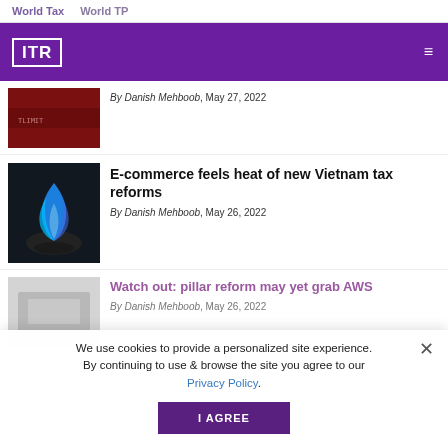World Tax   World TP
[Figure (logo): ITR logo in white on purple header with hamburger menu]
By Danish Mehboob, May 27, 2022
E-commerce feels heat of new Vietnam tax reforms
By Danish Mehboob, May 26, 2022
Watch out: pillar reform may yet grab AWS
By Danish Mehboob, May 26, 2022
We use cookies to provide a personalized site experience. By continuing to use & browse the site you agree to our Privacy Policy.